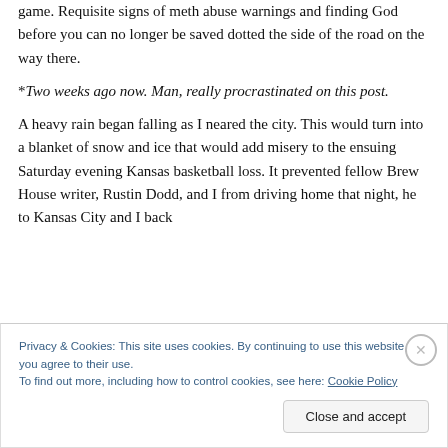game. Requisite signs of meth abuse warnings and finding God before you can no longer be saved dotted the side of the road on the way there.
*Two weeks ago now. Man, really procrastinated on this post.
A heavy rain began falling as I neared the city. This would turn into a blanket of snow and ice that would add misery to the ensuing Saturday evening Kansas basketball loss. It prevented fellow Brew House writer, Rustin Dodd, and I from driving home that night, he to Kansas City and I back
Privacy & Cookies: This site uses cookies. By continuing to use this website, you agree to their use.
To find out more, including how to control cookies, see here: Cookie Policy